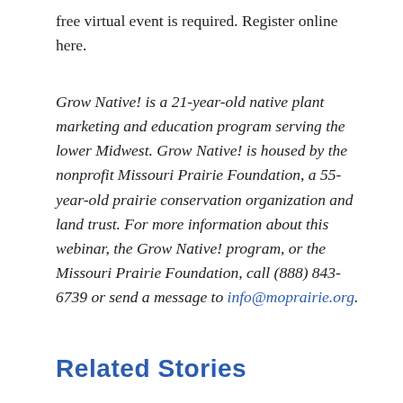free virtual event is required. Register online here.
Grow Native! is a 21-year-old native plant marketing and education program serving the lower Midwest. Grow Native! is housed by the nonprofit Missouri Prairie Foundation, a 55-year-old prairie conservation organization and land trust. For more information about this webinar, the Grow Native! program, or the Missouri Prairie Foundation, call (888) 843-6739 or send a message to info@moprairie.org.
Related Stories